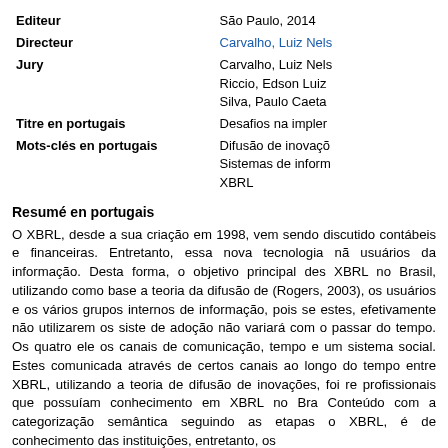| Editeur | São Paulo, 2014 |
| Directeur | Carvalho, Luiz Nels |
| Jury | Carvalho, Luiz Nels
Riccio, Edson Luiz
Silva, Paulo Caeta |
| Titre en portugais | Desafios na impler |
| Mots-clés en portugais | Difusão de inovaçõ
Sistemas de inform
XBRL |
Resumé en portugais
O XBRL, desde a sua criação em 1998, vem sendo discutido contábeis e financeiras. Entretanto, essa nova tecnologia nã usuários da informação. Desta forma, o objetivo principal des XBRL no Brasil, utilizando como base a teoria da difusão de (Rogers, 2003), os usuários e os vários grupos internos de informação, pois se estes, efetivamente não utilizarem os siste de adoção não variará com o passar do tempo. Os quatro ele os canais de comunicação, tempo e um sistema social. Estes comunicada através de certos canais ao longo do tempo entre XBRL, utilizando a teoria de difusão de inovações, foi re profissionais que possuíam conhecimento em XBRL no Bra Conteúdo com a categorização semântica seguindo as etapas o XBRL, é de conhecimento das instituições, entretanto, os